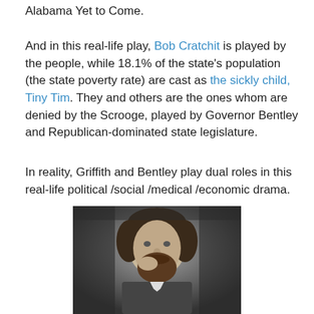Alabama Yet to Come.
And in this real-life play, Bob Cratchit is played by the people, while 18.1% of the state's population (the state poverty rate) are cast as the sickly child, Tiny Tim. They and others are the ones whom are denied by the Scrooge, played by Governor Bentley and Republican-dominated state legislature.
In reality, Griffith and Bentley play dual roles in this real-life political /social /medical /economic drama.
[Figure (photo): Black and white portrait photograph of a bearded man resting his chin on his hand, likely a historical figure from the 19th century.]